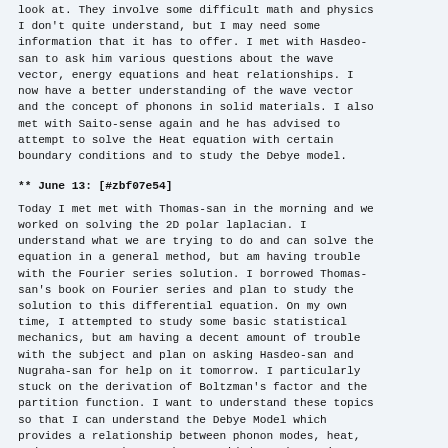look at. They involve some difficult math and physics I don't quite understand, but I may need some information that it has to offer. I met with Hasdeo-san to ask him various questions about the wave vector, energy equations and heat relationships. I now have a better understanding of the wave vector and the concept of phonons in solid materials. I also met with Saito-sense again and he has advised to attempt to solve the Heat equation with certain boundary conditions and to study the Debye model.
** June 13: [#zbf07e54]
Today I met met with Thomas-san in the morning and we worked on solving the 2D polar laplacian. I understand what we are trying to do and can solve the equation in a general method, but am having trouble with the Fourier series solution. I borrowed Thomas-san's book on Fourier series and plan to study the solution to this differential equation. On my own time, I attempted to study some basic statistical mechanics, but am having a decent amount of trouble with the subject and plan on asking Hasdeo-san and Nugraha-san for help on it tomorrow. I particularly stuck on the derivation of Boltzman's factor and the partition function. I want to understand these topics so that I can understand the Debye Model which provides a relationship between phonon modes, heat, and energy. Hasdeo-san has provided me the assignment of learning to derive the distribution functions, but